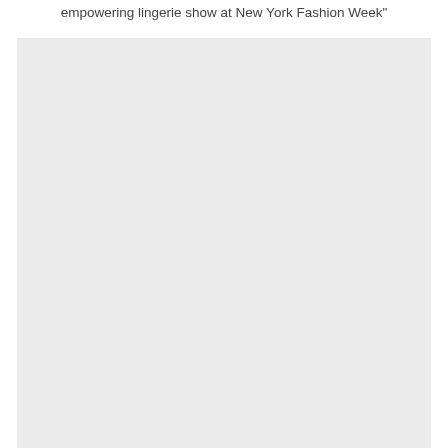empowering lingerie show at New York Fashion Week"
[Figure (photo): A large light gray/off-white rectangular image placeholder occupying most of the page below the caption text.]